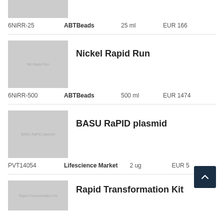[Figure (photo): Gray placeholder thumbnail for product (top, clipped)]
6NiRR-25   ABTBeads   25 ml   EUR 166
[Figure (photo): Gray placeholder thumbnail for Nickel Rapid Run product]
Nickel Rapid Run
6NiRR-500   ABTBeads   500 ml   EUR 1474
[Figure (photo): Gray placeholder thumbnail for BASU RaPID plasmid product]
BASU RaPID plasmid
PVT14054   Lifescience Market   2 ug   EUR 5[clipped]
[Figure (photo): Gray placeholder thumbnail for Rapid Transformation Kit product (partially visible)]
Rapid Transformation Kit